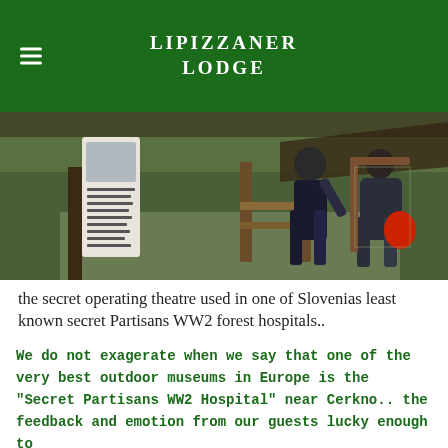LIPIZZANER LODGE
[Figure (photo): Two people entering a wooden structure at a forest site, with an informational sign panel visible on the left. Outdoor woodland setting.]
the secret operating theatre used in one of Slovenias least known secret Partisans WW2 forest hospitals..
We do not exagerate when we say that one of the very best outdoor museums in Europe is the "Secret Partisans WW2 Hospital" near Cerkno.. the feedback and emotion from our guests lucky enough to